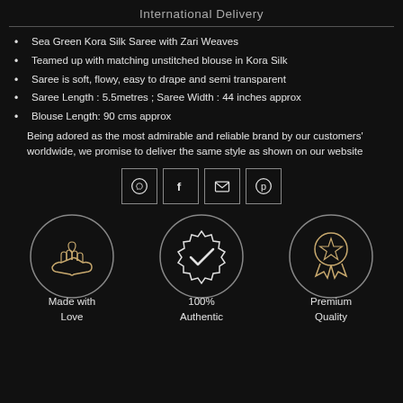International Delivery
Sea Green Kora Silk Saree with Zari Weaves
Teamed up with matching unstitched blouse in Kora Silk
Saree is soft, flowy, easy to drape and semi transparent
Saree Length : 5.5metres ; Saree Width : 44 inches approx
Blouse Length: 90 cms approx
Being adored as the most admirable and reliable brand by our customers' worldwide, we promise to deliver the same style as shown on our website
[Figure (infographic): Four social media/contact icon boxes in a row: WhatsApp phone icon, Facebook f icon, email envelope icon, Pinterest P icon]
[Figure (infographic): Three circular badges: 'Made with Love' with hands and heart icon, '100% Authentic' with checkmark badge icon, 'Premium Quality' with ribbon/medal icon]